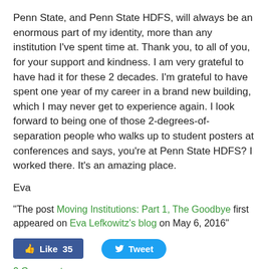Penn State, and Penn State HDFS, will always be an enormous part of my identity, more than any institution I've spent time at. Thank you, to all of you, for your support and kindness. I am very grateful to have had it for these 2 decades. I'm grateful to have spent one year of my career in a brand new building, which I may never get to experience again. I look forward to being one of those 2-degrees-of-separation people who walks up to student posters at conferences and says, you're at Penn State HDFS? I worked there. It's an amazing place.
Eva
"The post Moving Institutions: Part 1, The Goodbye first appeared on Eva Lefkowitz's blog on May 6, 2016"
[Figure (screenshot): Social media buttons: Facebook Like button showing 35 likes and Twitter Tweet button]
0 Comments
Eva S. Lefkowitz
I write about professional development issues (in HDFS and other areas), and occasionally sexuality research or other work-related